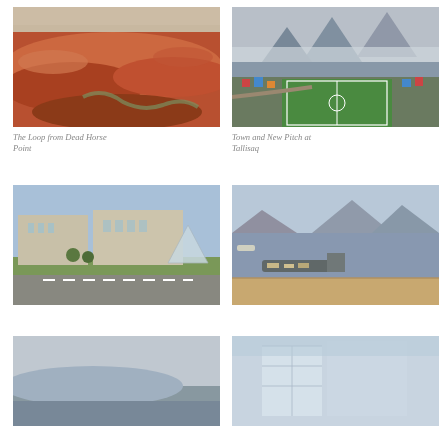[Figure (photo): Aerial view of The Loop canyon landscape from Dead Horse Point, showing red rock formations and a winding river.]
[Figure (photo): Town and new sports pitch at Tallisaq, Greenland, with colorful houses, mountains and clouds in background.]
The Loop from Dead Horse Point
Town and New Pitch at Tallisaq
[Figure (photo): The Louvre Museum in Paris with the glass pyramid, wide road in foreground and clear blue sky.]
[Figure (photo): Coastal harbor scene with mountains in background, dock in foreground, calm water with boats.]
[Figure (photo): Partial view of a landscape/scene at bottom left, cropped.]
[Figure (photo): Partial view of a glass/transparent structure at bottom right, cropped.]